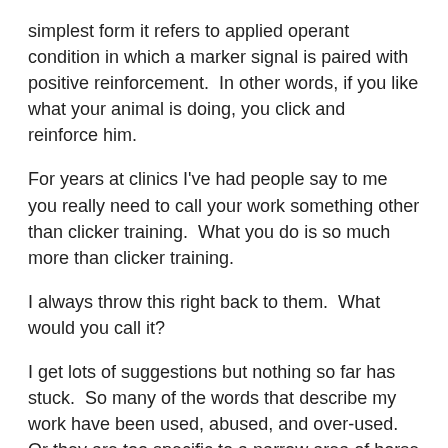simplest form it refers to applied operant condition in which a marker signal is paired with positive reinforcement.  In other words, if you like what your animal is doing, you click and reinforce him.
For years at clinics I've had people say to me you really need to call your work something other than clicker training.  What you do is so much more than clicker training.
I always throw this right back to them.  What would you call it?
I get lots of suggestions but nothing so far has stuck.  So many of the words that describe my work have been used, abused, and over-used.  Or they are too specific to a narrow area of horse training.
Harmony, balance, partnership have all been used so many times by so many different approaches to training they have lost any meaning.  You can have two diametrically opposed training